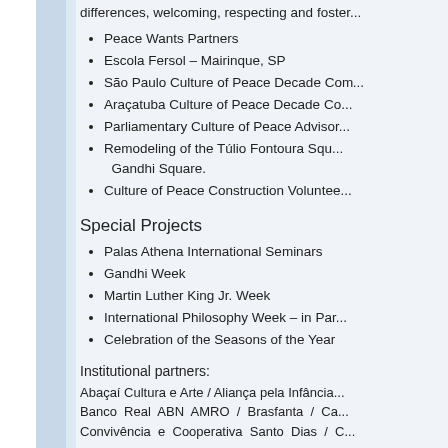differences, welcoming, respecting and foster...
Peace Wants Partners
Escola Fersol – Mairinque, SP
São Paulo Culture of Peace Decade Co...
Araçatuba Culture of Peace Decade Co...
Parliamentary Culture of Peace Advisor...
Remodeling of the Túlio Fontoura Square / Gandhi Square.
Culture of Peace Construction Voluntee...
Special Projects
Palas Athena International Seminars
Gandhi Week
Martin Luther King Jr. Week
International Philosophy Week – in Par...
Celebration of the Seasons of the Year
Institutional partners:
Abaçaí Cultura e Arte / Aliança pela Infância / Banco Real ABN AMRO / Brasfanta / Ca... Convivência e Cooperativa Santo Dias / C...